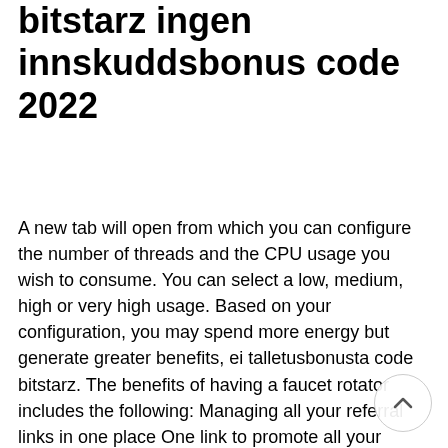bitstarz ingen innskuddsbonus code 2022
A new tab will open from which you can configure the number of threads and the CPU usage you wish to consume. You can select a low, medium, high or very high usage. Based on your configuration, you may spend more energy but generate greater benefits, ei talletusbonusta code bitstarz. The benefits of having a faucet rotator includes the following: Managing all your referral links in one place One link to promote all your programs Earn ad revenue from banners Earn revenue from rotator sales, ei talletusbonusta code bitstarz. Bitcoin faucets are a reward system, in the form of a website or app , that dispenses rewards in the form of a satoshi, which hundredth of a millionth BTC, for visitors to